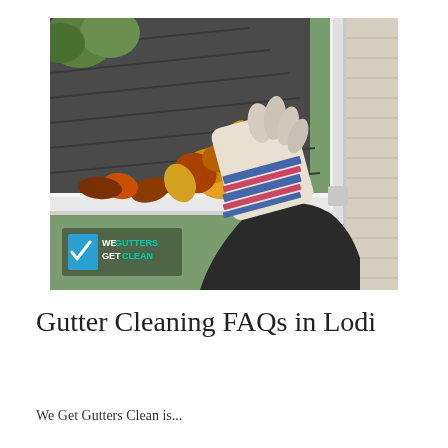[Figure (photo): A person wearing a striped work glove removing autumn leaves and debris from a white rain gutter on a roof. The gutter is full of yellow, orange, red and brown leaves. A white downspout is visible on the right side. The We Gutters Get Clean logo appears in the lower left corner of the photo.]
Gutter Cleaning FAQs in Lodi
We Get Gutters Clean is...